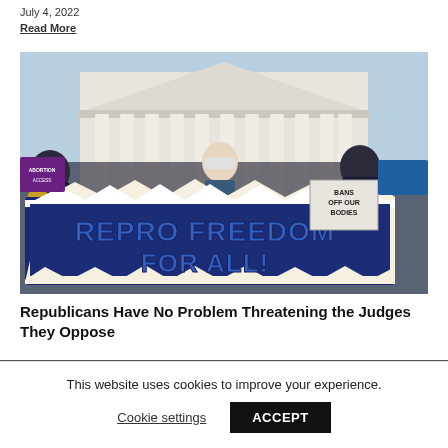July 4, 2022
Read More
[Figure (photo): Protesters outside the US Supreme Court building holding a large blue banner reading 'REPRO FREEDOM FOR ALL!' and a smaller sign reading 'BANS OFF OUR BODIES'. Protesters are wearing masks.]
Republicans Have No Problem Threatening the Judges They Oppose
This website uses cookies to improve your experience.
Cookie settings
ACCEPT